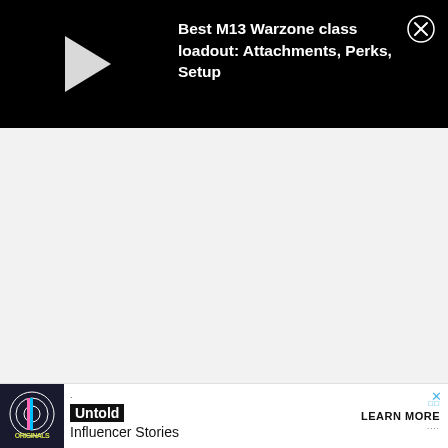[Figure (screenshot): Black video player bar with white play triangle on the left and video title text on the right, plus a circular close (X) button at top-right]
Best M13 Warzone class loadout: Attachments, Perks, Setup
[Figure (screenshot): Light gray empty content area below the video player]
[Figure (infographic): Advertisement banner at bottom: Originals logo on left, Untold Influencer Stories text in center, LEARN MORE button on right with close X button]